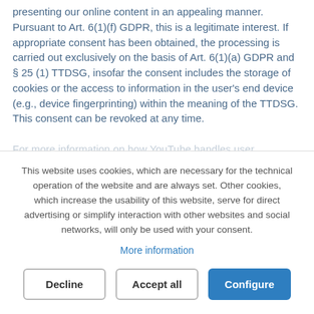presenting our online content in an appealing manner. Pursuant to Art. 6(1)(f) GDPR, this is a legitimate interest. If appropriate consent has been obtained, the processing is carried out exclusively on the basis of Art. 6(1)(a) GDPR and § 25 (1) TTDSG, insofar the consent includes the storage of cookies or the access to information in the user's end device (e.g., device fingerprinting) within the meaning of the TTDSG. This consent can be revoked at any time.
For more information on how YouTube handles user
This website uses cookies, which are necessary for the technical operation of the website and are always set. Other cookies, which increase the usability of this website, serve for direct advertising or simplify interaction with other websites and social networks, will only be used with your consent.
More information
Decline
Accept all
Configure